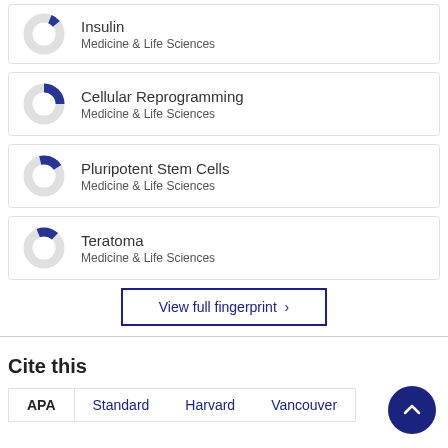[Figure (donut-chart): Donut chart for Insulin, Medicine & Life Sciences]
Insulin
Medicine & Life Sciences
[Figure (donut-chart): Donut chart for Cellular Reprogramming, Medicine & Life Sciences]
Cellular Reprogramming
Medicine & Life Sciences
[Figure (donut-chart): Donut chart for Pluripotent Stem Cells, Medicine & Life Sciences]
Pluripotent Stem Cells
Medicine & Life Sciences
[Figure (donut-chart): Donut chart for Teratoma, Medicine & Life Sciences]
Teratoma
Medicine & Life Sciences
View full fingerprint ›
Cite this
APA  Standard  Harvard  Vancouver